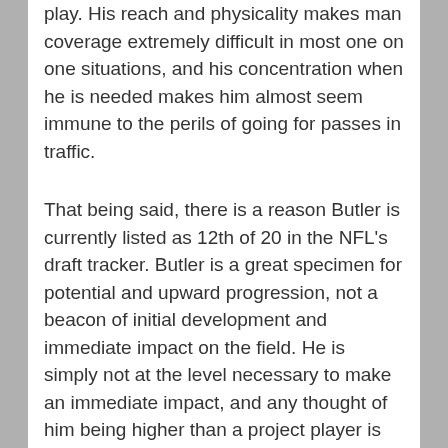play. His reach and physicality makes man coverage extremely difficult in most one on one situations, and his concentration when he is needed makes him almost seem immune to the perils of going for passes in traffic.
That being said, there is a reason Butler is currently listed as 12th of 20 in the NFL's draft tracker. Butler is a great specimen for potential and upward progression, not a beacon of initial development and immediate impact on the field. He is simply not at the level necessary to make an immediate impact, and any thought of him being higher than a project player is foolish. For one, he drops way too many passes for someone who needs to demand attention like Butler's play style often does. His route running is also a work in progress, as his comeback routes are more turn-arounds rather than